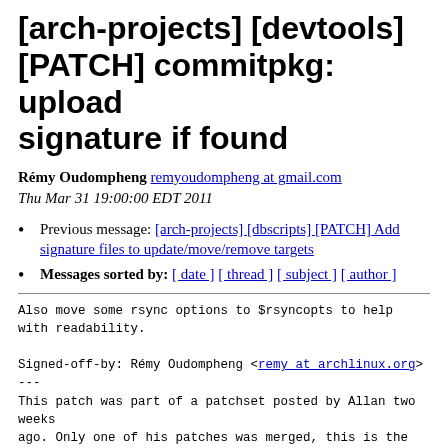[arch-projects] [devtools] [PATCH] commitpkg: upload signature if found
Rémy Oudompheng remyoudompheng at gmail.com
Thu Mar 31 19:00:00 EDT 2011
Previous message: [arch-projects] [dbscripts] [PATCH] Add signature files to update/move/remove targets
Messages sorted by: [ date ] [ thread ] [ subject ] [ author ]
Also move some rsync options to $rsyncopts to help
with readability.

Signed-off-by: Rémy Oudompheng <remy at archlinux.org>
---
This patch was part of a patchset posted by Allan two weeks
ago. Only one of his patches was merged, this is the
second one, which include remarks made by Dan. Along with
the dbscripts patch, it would allow current developers
to begin signing their packages, and have the